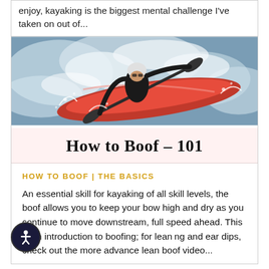enjoy, kayaking is the biggest mental challenge I've taken on out of...
[Figure (photo): Person kayaking in a red kayak through white water rapids, wearing black jacket and white helmet, with paddle splashing water. Overlaid text reads 'How to Boof – 101' on a light pink/cream background banner.]
HOW TO BOOF | THE BASICS
An essential skill for kayaking of all skill levels, the boof allows you to keep your bow high and dry as you continue to move downstream, full speed ahead. This is an introduction to boofing; for leaning and ear dips, check out the more advance lean boof video...